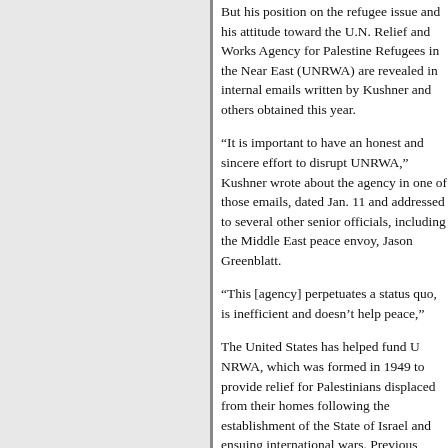But his position on the refugee issue and his attitude toward the U.N. Relief and Works Agency for Palestine Refugees in the Near East (UNRWA) are revealed in internal emails written by Kushner and others obtained this year.
“It is important to have an honest and sincere effort to disrupt UNRWA,” Kushner wrote about the agency in one of those emails, dated Jan. 11 and addressed to several other senior officials, including the Middle East peace envoy, Jason Greenblatt.
“This [agency] perpetuates a status quo, is inefficient and doesn’t help peace,”
The United States has helped fund UNRWA, which was formed in 1949 to provide relief for Palestinians displaced from their homes following the establishment of the State of Israel and ensuing international wars. Previous administrations have viewed the agency as a critical contributor to stability in the
But many Israel supporters in the U